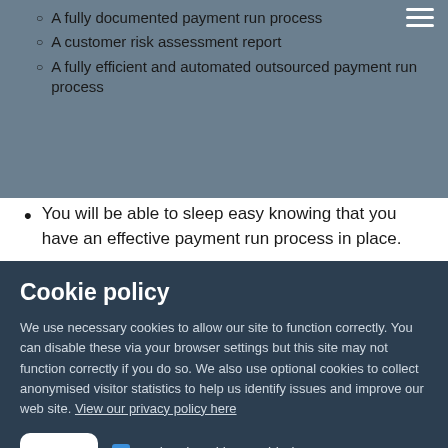A fully documented payment run process
A customer risk assessment report
A fully efficient and automated outsourced payment run process
You will be able to sleep easy knowing that you have an effective payment run process in place.
Cookie policy
We use necessary cookies to allow our site to function correctly. You can disable these via your browser settings but this site may not function correctly if you do so. We also use optional cookies to collect anonymised visitor statistics to help us identify issues and improve our web site. View our privacy policy here